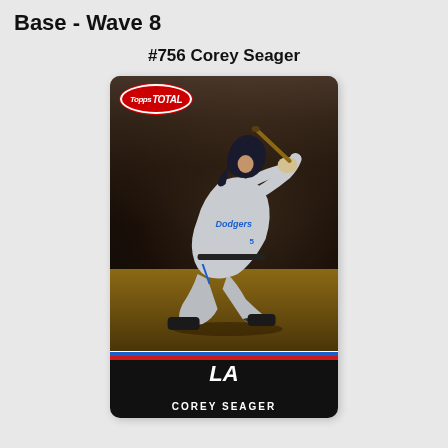Base - Wave 8
#756 Corey Seager
[Figure (photo): Topps Total baseball card #756 featuring Corey Seager of the Los Angeles Dodgers in a batting follow-through pose, wearing a grey Dodgers uniform. The card has the Topps Total logo in the upper left, a dark action photo background with crowd, a dirt infield ground, and a black bottom bar with the LA Dodgers logo and the player name COREY SEAGER in white lettering with blue and red accent stripes.]